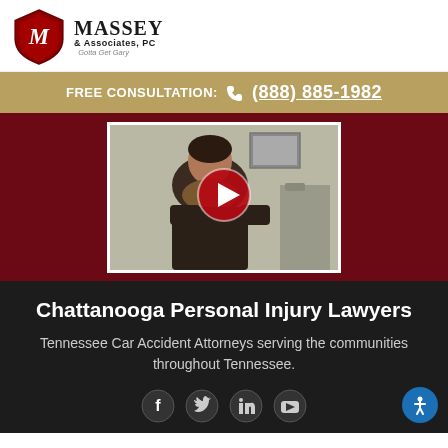[Figure (logo): Massey & Associates PC law firm logo with red shield and stylized M]
FREE CONSULTATION: (888) 885-1982
[Figure (screenshot): Video thumbnail showing a woman seated, with a red play button overlay, on dark red background]
Chattanooga Personal Injury Lawyers
Tennessee Car Accident Attorneys serving the communities throughout Tennessee.
[Figure (illustration): Social media icons: Facebook, Twitter, LinkedIn, YouTube]